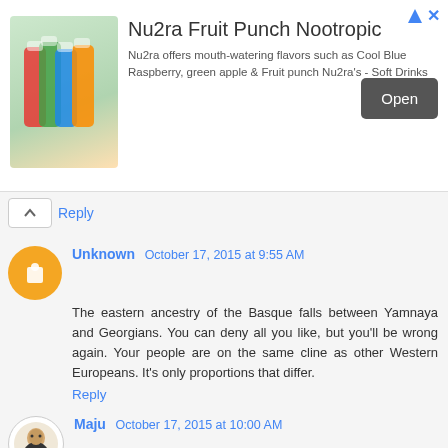[Figure (infographic): Advertisement banner for Nu2ra Fruit Punch Nootropic showing colorful drink bottles on left, title 'Nu2ra Fruit Punch Nootropic', description text about flavors, and an Open button on right]
Reply
Unknown  October 17, 2015 at 9:55 AM
The eastern ancestry of the Basque falls between Yamnaya and Georgians. You can deny all you like, but you'll be wrong again. Your people are on the same cline as other Western Europeans. It's only proportions that differ.
Reply
Maju  October 17, 2015 at 10:00 AM
@Matt: OK, I've been looking at your figures, calculator on hand, and it seems that, at least based on Fst, my hypothesis does not stand - because the ratio Fst(Basque,X)/Fst(Iberia_EN,X) is worse (implies greater